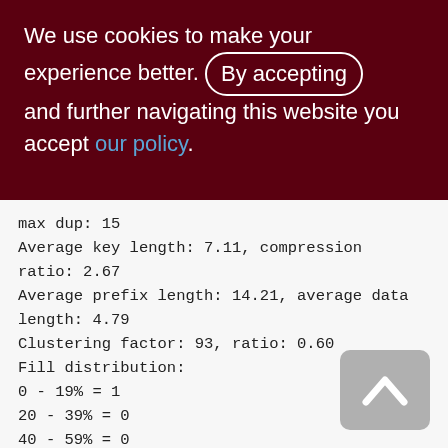We use cookies to make your experience better. By accepting and further navigating this website you accept our policy.
max dup: 15
Average key length: 7.11, compression ratio: 2.67
Average prefix length: 14.21, average data length: 4.79
Clustering factor: 93, ratio: 0.60
Fill distribution:
0 - 19% = 1
20 - 39% = 0
40 - 59% = 0
60 - 79% = 0
80 - 99% = 0